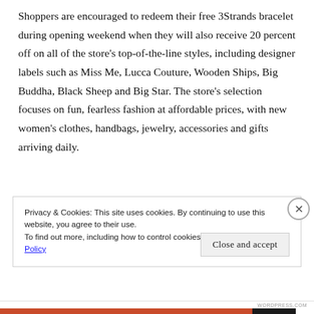Shoppers are encouraged to redeem their free 3Strands bracelet during opening weekend when they will also receive 20 percent off on all of the store's top-of-the-line styles, including designer labels such as Miss Me, Lucca Couture, Wooden Ships, Big Buddha, Black Sheep and Big Star. The store's selection focuses on fun, fearless fashion at affordable prices, with new women's clothes, handbags, jewelry, accessories and gifts arriving daily.
Privacy & Cookies: This site uses cookies. By continuing to use this website, you agree to their use.
To find out more, including how to control cookies, see here: Cookie Policy
Close and accept